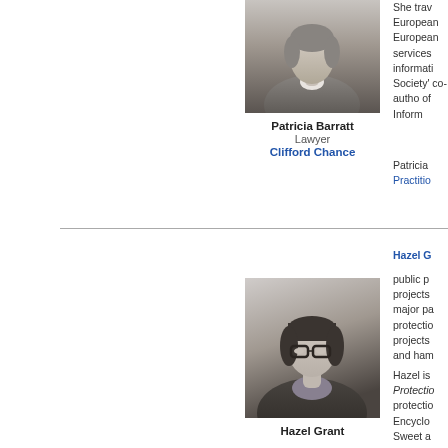[Figure (photo): Professional headshot of Patricia Barratt, a woman in a grey blazer with white shirt, black and white photo]
Patricia Barratt
Lawyer
Clifford Chance
She trav European European services information Society' co-autho of Inform
Patricia Practitio
[Figure (photo): Professional headshot of Hazel Grant, a woman with short dark hair wearing glasses and a dark blazer with scarf]
Hazel Grant
Hazel G public p projects major pa protectio projects and ham
Hazel is Protectio protectio Encyclo Sweet a